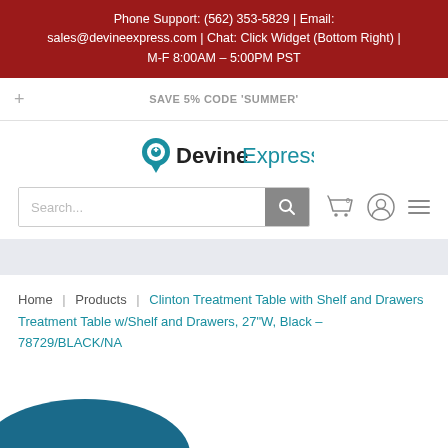Phone Support: (562) 353-5829 | Email: sales@devineexpress.com | Chat: Click Widget (Bottom Right) | M-F 8:00AM – 5:00PM PST
SAVE 5% CODE 'SUMMER'
[Figure (logo): DevineExpress logo with map pin icon in teal, 'Devine' in dark text and 'Express' in teal]
[Figure (screenshot): Search bar with search button, cart icon, user icon, and hamburger menu icon]
Home | Products | Clinton Treatment Table with Shelf and Drawers Treatment Table w/Shelf and Drawers, 27"W, Black – 78729/BLACK/NA